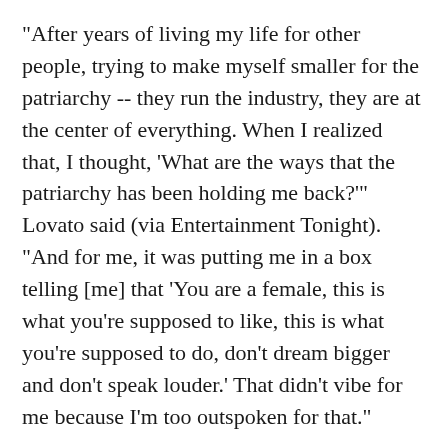"After years of living my life for other people, trying to make myself smaller for the patriarchy -- they run the industry, they are at the center of everything. When I realized that, I thought, 'What are the ways that the patriarchy has been holding me back?'" Lovato said (via Entertainment Tonight). "And for me, it was putting me in a box telling [me] that 'You are a female, this is what you're supposed to like, this is what you're supposed to do, don't dream bigger and don't speak louder.' That didn't vibe for me because I'm too outspoken for that."
Lovato also discussed their role as an artist in tackling political topics at a time when the country is so deeply divided.
"I think all I can encourage people to do is to find more